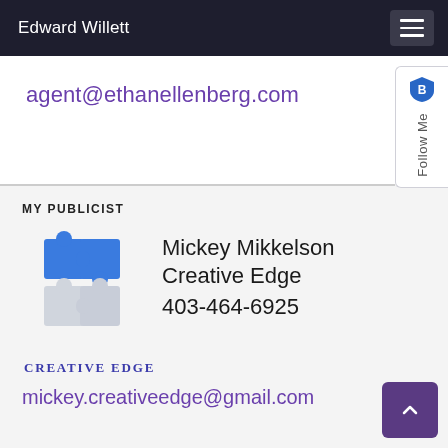Edward Willett
agent@ethanellenberg.com
MY PUBLICIST
[Figure (logo): Creative Edge logo — 3D blue and white interlocking puzzle pieces]
Mickey Mikkelson
Creative Edge
403-464-6925
Creative Edge
mickey.creativeedge@gmail.com